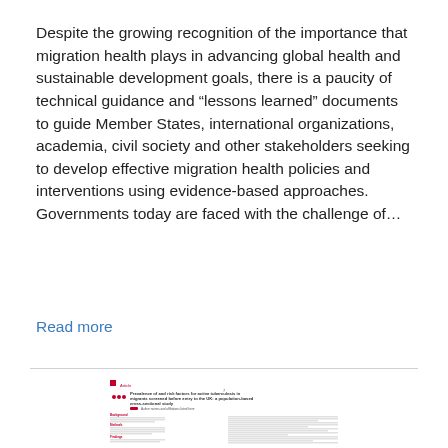Despite the growing recognition of the importance that migration health plays in advancing global health and sustainable development goals, there is a paucity of technical guidance and „lessons learned” documents to guide Member States, international organizations, academia, civil society and other stakeholders seeking to develop effective migration health policies and interventions using evidence-based approaches. Governments today are faced with the challenge of…
Read more
[Figure (screenshot): Thumbnail of an academic article titled 'Prevalence of and risk factors for active tuberculosis in migrants screened before entry to the UK: a population-based cross-sectional study'. Shows the article header with authors, abstract sections (Background, Methods, Findings, Interpretation, Funding), and beginning of Introduction text. Published in a journal with red/maroon branding.]